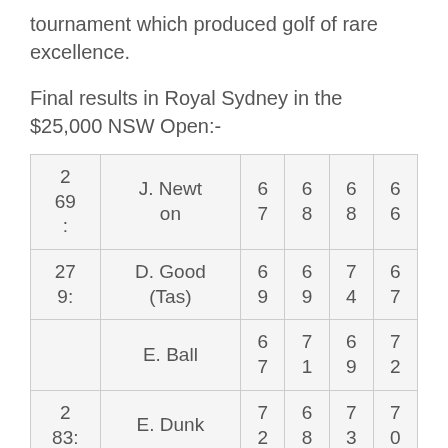tournament which produced golf of rare excellence.
Final results in Royal Sydney in the $25,000 NSW Open:-
| 2
69
: | J. Newton | 6
7 | 6
8 | 6
8 | 6
6 |
| 27
9: | D. Good
(Tas) | 6
9 | 6
9 | 7
4 | 6
7 |
|  | E. Ball | 6
7 | 7
1 | 6
9 | 7
2 |
| 2
83: | E. Dunk | 7
2 | 6
8 | 7
3 | 7
0 |